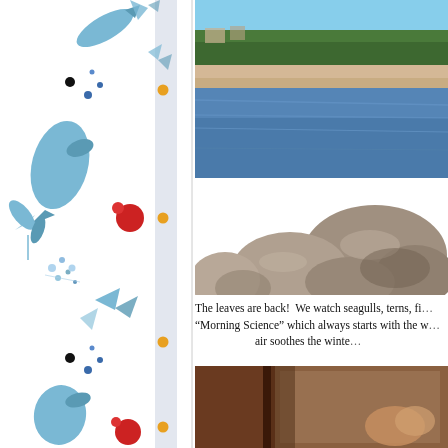[Figure (illustration): Decorative left border with blue illustrated dolphins/birds, red flowers, small dots in orange/black/blue, and blue leaf/plant motifs on white background with a light blue/grey vertical stripe]
[Figure (photo): Outdoor coastal scene showing blue water, sandy beach, large rocks/boulders in foreground, green wooded hillside and houses in background under blue sky]
The leaves are back!  We watch seagulls, terns, fi... "Morning Science" which always starts with the w... air soothes the winte...
[Figure (photo): Indoor scene partially visible, showing what appears to be wooden furniture and a person's hands]